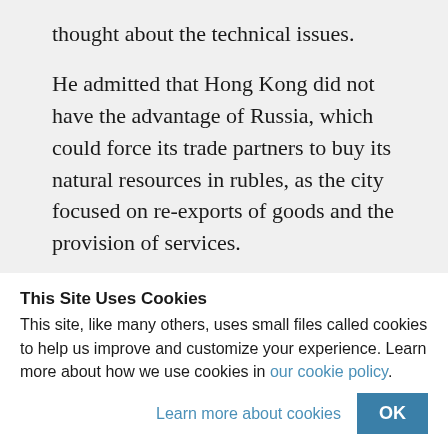thought about the technical issues.
He admitted that Hong Kong did not have the advantage of Russia, which could force its trade partners to buy its natural resources in rubles, as the city focused on re-exports of goods and the provision of services.
This Site Uses Cookies
This site, like many others, uses small files called cookies to help us improve and customize your experience. Learn more about how we use cookies in our cookie policy.
Learn more about cookies   OK